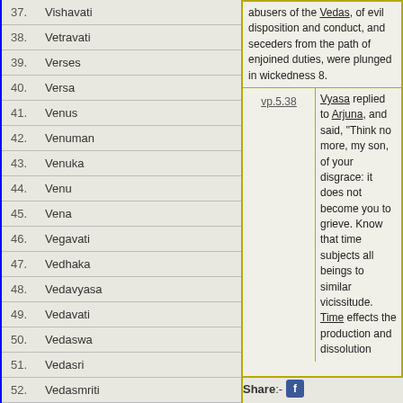37. Vishavati
38. Vetravati
39. Verses
40. Versa
41. Venus
42. Venuman
43. Venuka
44. Venu
45. Vena
46. Vegavati
47. Vedhaka
48. Vedavyasa
49. Vedavati
50. Vedaswa
51. Vedasri
52. Vedasmriti
53. Vedasmrita
54. Vedas iras
55. Vedas
56. Vedanta
57. Vedana
58. Vedamitra
abusers of the Vedas, of evil disposition and conduct, and seceders from the path of enjoined duties, were plunged in wickedness 8.
vp.5.38  Vyasa replied to Arjuna, and said, "Think no more, my son, of your disgrace: it does not become you to grieve. Know that time subjects all beings to similar vicissitude. Time effects the production and dissolution
Share:-